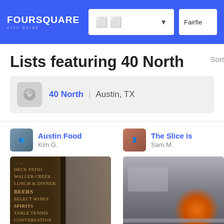[Figure (screenshot): Foursquare City Guide header with logo, search box, dropdown arrow, and location box showing Fairfield]
Lists featuring 40 North
Sort
[Figure (infographic): 40 North venue info bar with pizza icon, name '40 North' and location 'Austin, TX']
Austin Food
Kim G.
The Slice is
Sam M.
[Figure (photo): Chalkboard menu listing DECK PATIO, WALLER CREEK, LUNCH & DINNER, BEERS, SELECT WINES, SPIRITS, TABLE TENNIS, CONVERSATION, FRIENDS]
[Figure (photo): Pizza oven with glowing fire, partial view]
37 places including Hank's, Auguste & Marcel
12 places including